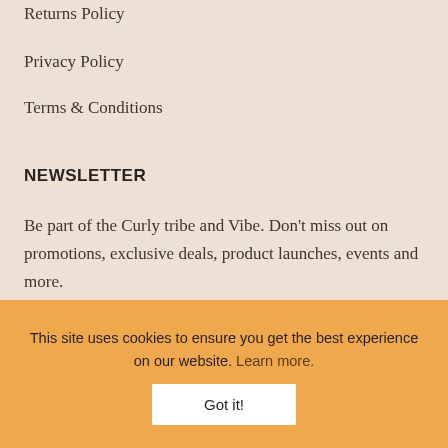Returns Policy
Privacy Policy
Terms & Conditions
NEWSLETTER
Be part of the Curly tribe and Vibe. Don't miss out on promotions, exclusive deals, product launches, events and more.
SUBSCRIBE NOW
This site uses cookies to ensure you get the best experience on our website. Learn more.
Got it!